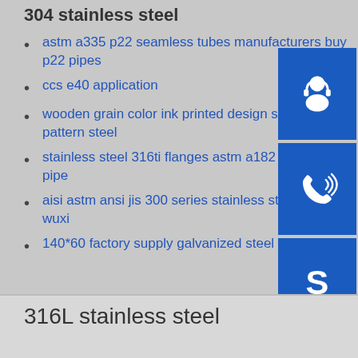304 stainless steel
astm a335 p22 seamless tubes manufacturers buy p22 pipes
ccs e40 application
wooden grain color ink printed design sheet wo... pattern steel
stainless steel 316ti flanges astm a182 grade f3... pipe
aisi astm ansi jis 300 series stainless steel flat ... wuxi
140*60 factory supply galvanized steel square pipe
316L stainless steel